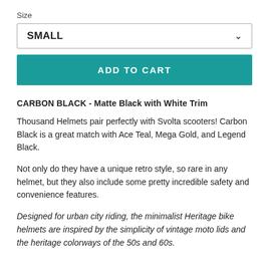Size
SMALL
ADD TO CART
CARBON BLACK - Matte Black with White Trim
Thousand Helmets pair perfectly with Svolta scooters! Carbon Black is a great match with Ace Teal, Mega Gold, and Legend Black.
Not only do they have a unique retro style, so rare in any helmet, but they also include some pretty incredible safety and convenience features.
Designed for urban city riding, the minimalist Heritage bike helmets are inspired by the simplicity of vintage moto lids and the heritage colorways of the 50s and 60s.